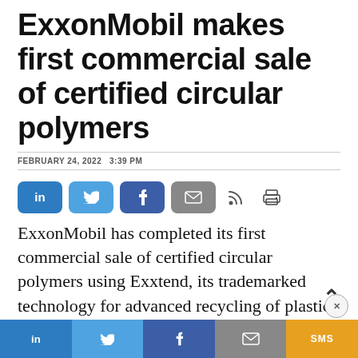ExxonMobil makes first commercial sale of certified circular polymers
FEBRUARY 24, 2022   3:39 PM
[Figure (other): Social share buttons row: LinkedIn (dark blue), Twitter (light blue), Facebook (dark blue), Email (gray), RSS icon, Print icon]
ExxonMobil has completed its first commercial sale of certified circular polymers using Exxtend, its trademarked technology for advanced recycling of plastic waste.
[Figure (other): Bottom navigation bar with LinkedIn, Twitter, Facebook, Email, and SMS buttons]